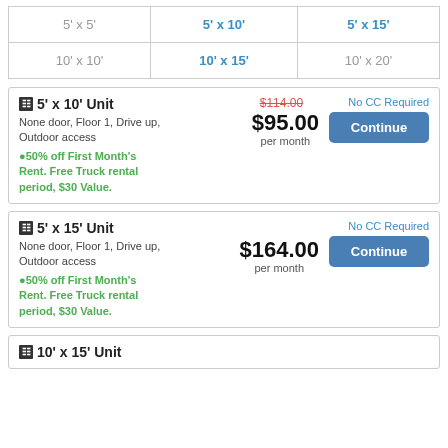| 5' x 5' | 5' x 10' | 5' x 15' |
| 10' x 10' | 10' x 15' | 10' x 20' |
5' x 10' Unit — None door, Floor 1, Drive up, Outdoor access. 50% off First Month's Rent. Free Truck rental period, $30 Value. Was $114.00, now $95.00 per month. No CC Required.
5' x 15' Unit — None door, Floor 1, Drive up, Outdoor access. 50% off First Month's Rent. Free Truck rental period, $30 Value. $164.00 per month. No CC Required.
10' x 15' Unit